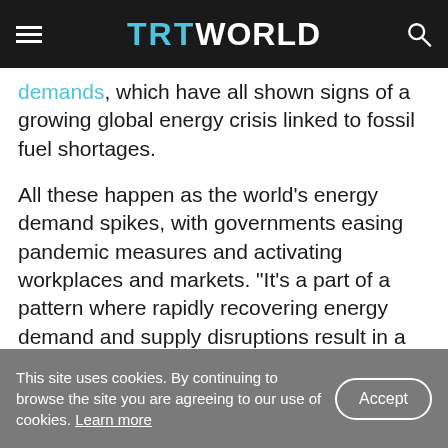TRT WORLD
demands, which have all shown signs of a growing global energy crisis linked to fossil fuel shortages.

All these happen as the world's energy demand spikes, with governments easing pandemic measures and activating workplaces and markets. “It's a part of a pattern where rapidly recovering energy demand and supply disruptions result in a price shock,” Lauri Myllyvirta, the lead analyst at Center for Research on Energy and Clean Air, told TRT World.
This site uses cookies. By continuing to browse the site you are agreeing to our use of cookies. Learn more